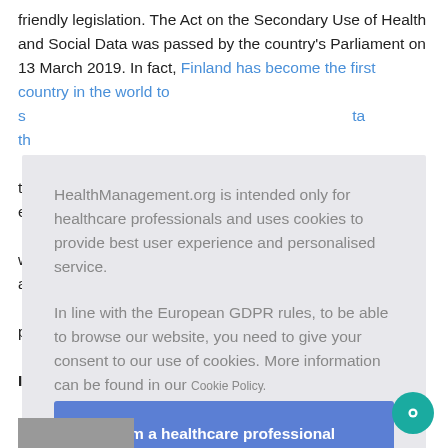friendly legislation. The Act on the Secondary Use of Health and Social Data was passed by the country's Parliament on 13 March 2019. In fact, Finland has become the first country in the world to s... ta th... took e... ul w... a... ve p...
HealthManagement.org is intended only for healthcare professionals and uses cookies to provide best user experience and personalised service.

In line with the European GDPR rules, to be able to browse our website, you need to give your consent to our use of cookies. More information can be found in our Cookie Policy.

I am a healthcare professional and consent to the use of cookies
I... the e... health a... ges in th... g, c... ped d...